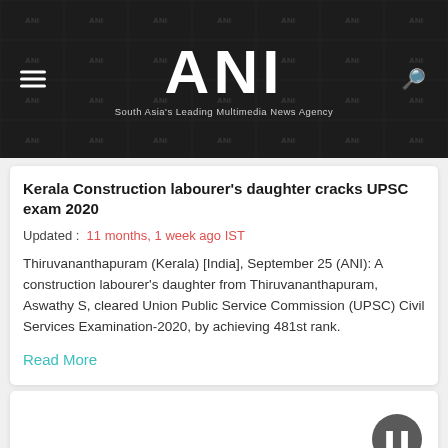ANI — South Asia's Leading Multimedia News Agency
Kerala Construction labourer's daughter cracks UPSC exam 2020
Updated :  11 months, 1 week ago IST
Thiruvananthapuram (Kerala) [India], September 25 (ANI): A construction labourer's daughter from Thiruvananthapuram, Aswathy S, cleared Union Public Service Commission (UPSC) Civil Services Examination-2020, by achieving 481st rank.
Read More
[Figure (screenshot): Partial second news card at bottom of page, mostly empty white card with a circular button in bottom right corner]